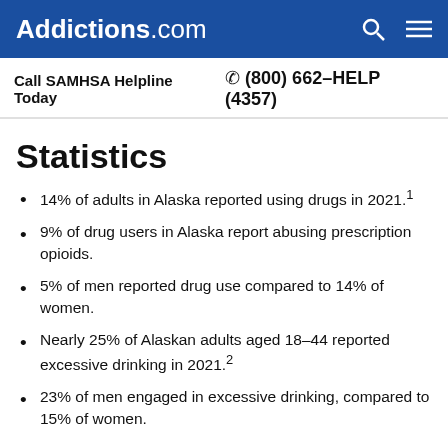Addictions.com
Call SAMHSA Helpline Today  (800) 662-HELP (4357)
Statistics
14% of adults in Alaska reported using drugs in 2021.¹
9% of drug users in Alaska report abusing prescription opioids.
5% of men reported drug use compared to 14% of women.
Nearly 25% of Alaskan adults aged 18-44 reported excessive drinking in 2021.²
23% of men engaged in excessive drinking, compared to 15% of women.